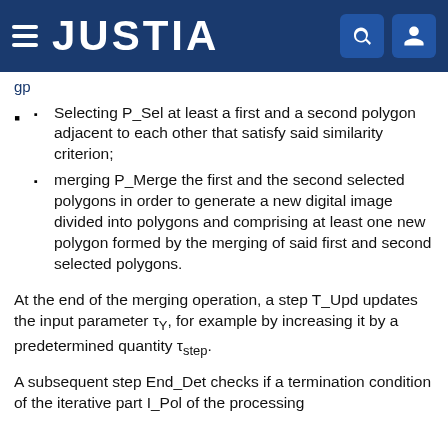JUSTIA
Selecting P_Sel at least a first and a second polygon adjacent to each other that satisfy said similarity criterion;
merging P_Merge the first and the second selected polygons in order to generate a new digital image divided into polygons and comprising at least one new polygon formed by the merging of said first and second selected polygons.
At the end of the merging operation, a step T_Upd updates the input parameter τ_Y, for example by increasing it by a predetermined quantity τ_step.
A subsequent step End_Det checks if a termination condition of the iterative part I_Pol of the processing